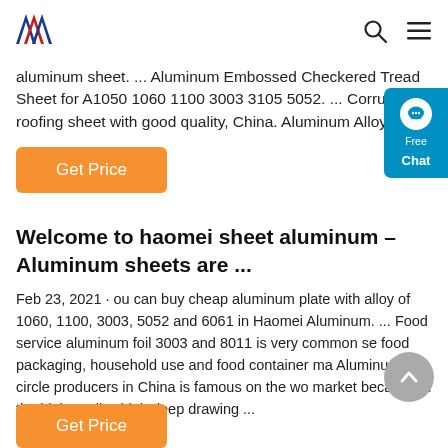[Figure (logo): Haomei Aluminum logo with stylized A/M letters in dark blue/red]
aluminum sheet. ... Aluminum Embossed Checkered Tread Sheet for A1050 1060 1100 3003 3105 5052. ... Corrugated roofing sheet with good quality, China. Aluminum Alloy Sheet
Get Price
Welcome to haomei sheet aluminum – Aluminum sheets are ...
Feb 23, 2021 · ou can buy cheap aluminum plate with alloy of 1060, 1100, 3003, 5052 and 6061 in Haomei Aluminum. ... Food service aluminum foil 3003 and 8011 is very common se food packaging, household use and food container ma Aluminum circle producers in China is famous on the wo market because of the high quality, high deep drawing ...